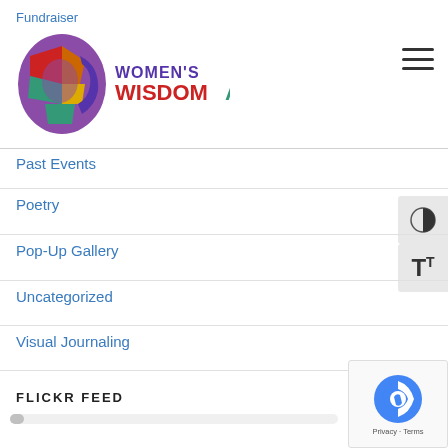Fundraiser
[Figure (logo): Women's Wisdom Art logo — colorful profile of a woman's head with geometric color blocks, next to text 'WOMEN'S WISDOMART']
Past Events
Poetry
Pop-Up Gallery
Uncategorized
Visual Journaling
FLICKR FEED